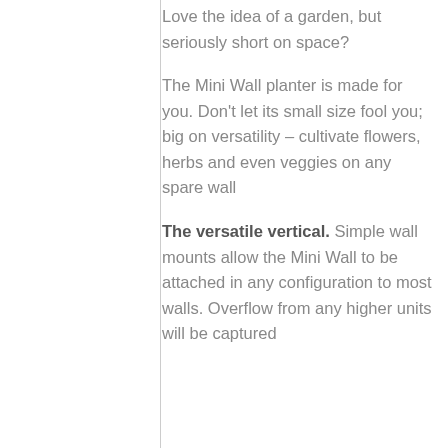Love the idea of a garden, but seriously short on space?

The Mini Wall planter is made for you. Don't let its small size fool you; big on versatility – cultivate flowers, herbs and even veggies on any spare wall

The versatile vertical. Simple wall mounts allow the Mini Wall to be attached in any configuration to most walls. Overflow from any higher units will be captured